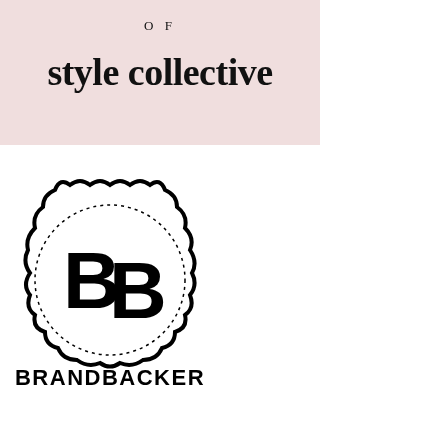[Figure (logo): Style Collective logo on pink background with cursive text and 'OF style collective' in bold serif font]
[Figure (logo): BrandBacker logo: decorative scalloped circle badge with large BB monogram letters inside, and BRANDBACKER text below in bold sans-serif]